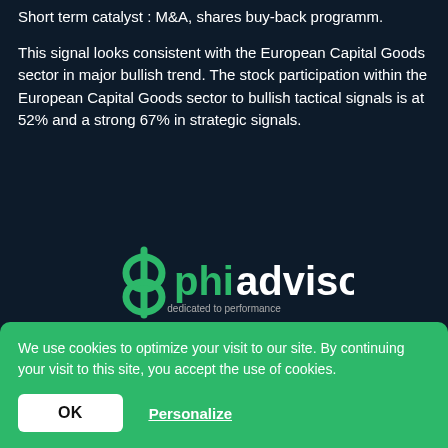Short term catalyst : M&A, shares buy-back programm.
This signal looks consistent with the European Capital Goods sector in major bullish trend. The stock participation within the European Capital Goods sector to bullish tactical signals is at 52% and a strong 67% in strategic signals.
[Figure (logo): Phiadvisor logo with green phi symbol and text 'phiadvisor dedicated to performance']
40 Rue du Colisée 75008 PARIS
We use cookies to optimize your visit to our site. By continuing your visit to this site, you accept the use of cookies.
OK
Personalize